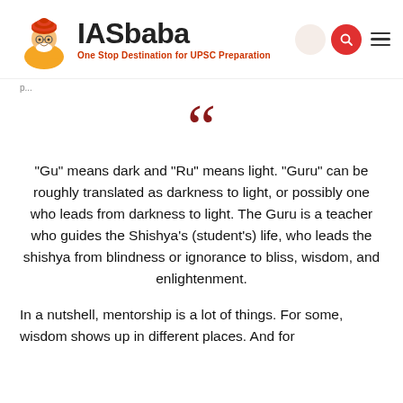IASbaba — One Stop Destination for UPSC Preparation
[Figure (other): Large dark red opening quotation mark graphic]
"Gu" means dark and "Ru" means light. "Guru" can be roughly translated as darkness to light, or possibly one who leads from darkness to light. The Guru is a teacher who guides the Shishya's (student's) life, who leads the shishya from blindness or ignorance to bliss, wisdom, and enlightenment.
In a nutshell, mentorship is a lot of things. For some, wisdom shows up in different places. And for